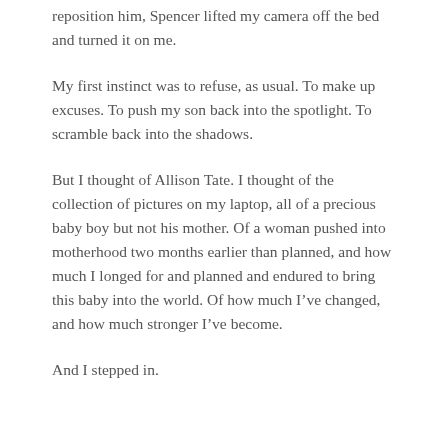reposition him, Spencer lifted my camera off the bed and turned it on me.
My first instinct was to refuse, as usual. To make up excuses. To push my son back into the spotlight. To scramble back into the shadows.
But I thought of Allison Tate. I thought of the collection of pictures on my laptop, all of a precious baby boy but not his mother. Of a woman pushed into motherhood two months earlier than planned, and how much I longed for and planned and endured to bring this baby into the world. Of how much I’ve changed, and how much stronger I’ve become.
And I stepped in.